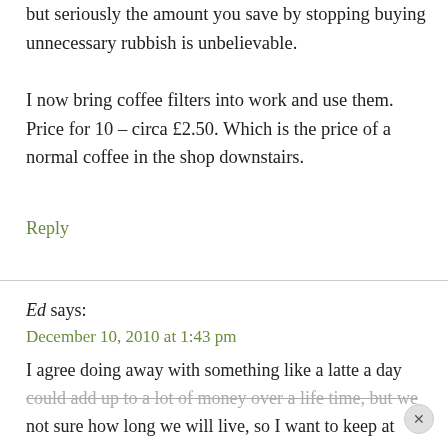but seriously the amount you save by stopping buying unnecessary rubbish is unbelievable.
I now bring coffee filters into work and use them. Price for 10 – circa £2.50. Which is the price of a normal coffee in the shop downstairs.
Reply
Ed says:
December 10, 2010 at 1:43 pm
I agree doing away with something like a latte a day could add up to a lot of money over a life time, but we not sure how long we will live, so I want to keep at